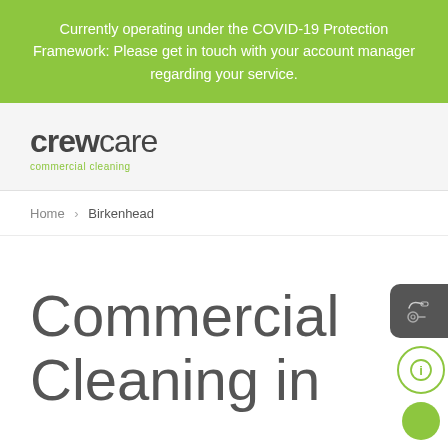Currently operating under the COVID-19 Protection Framework: Please get in touch with your account manager regarding your service.
[Figure (logo): CrewCare commercial cleaning logo — bold sans-serif 'crew' followed by lighter 'care', with green 'commercial cleaning' tagline beneath]
Home > Birkenhead
Commercial Cleaning in